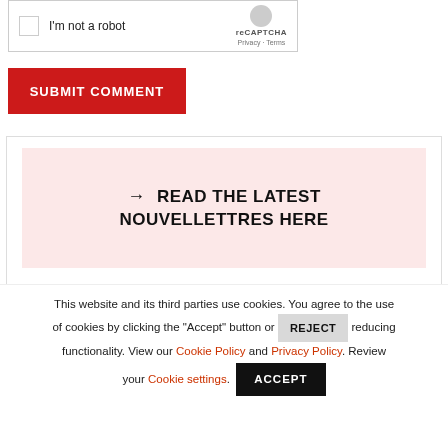[Figure (other): reCAPTCHA checkbox widget with 'I'm not a robot' text and reCAPTCHA logo showing Privacy and Terms links]
SUBMIT COMMENT
→ READ THE LATEST NOUVELLETTRES HERE
SEARCH PARLER NICE
This website and its third parties use cookies. You agree to the use of cookies by clicking the "Accept" button or REJECT reducing functionality. View our Cookie Policy and Privacy Policy. Review your Cookie settings. ACCEPT